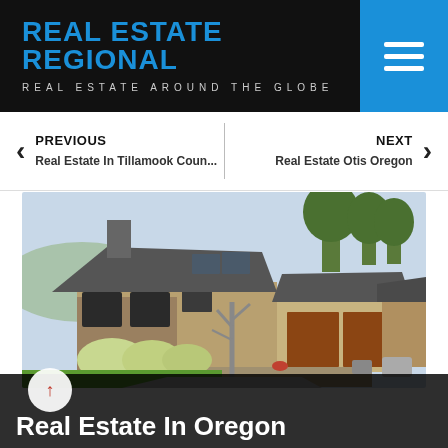REAL ESTATE REGIONAL
REAL ESTATE AROUND THE GLOBE
PREVIOUS
Real Estate In Tillamook Coun...
NEXT
Real Estate Otis Oregon
[Figure (photo): Exterior photo of a large two-story stone and stucco house with a multi-pitch roof, chimney, two-car garage, and landscaped yard with trees]
Real Estate In Oregon